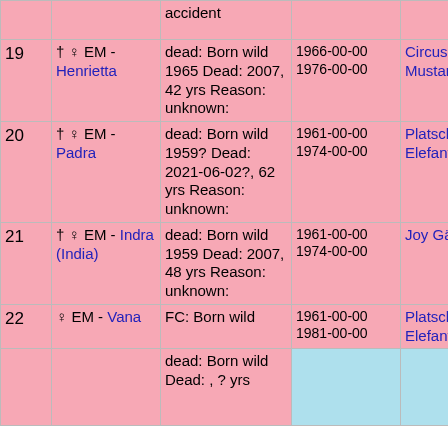| # | Name | Status | Dates | Place |  |
| --- | --- | --- | --- | --- | --- |
|  |  | accident |  |  |  |
| 19 | † ♀ EM - Henrietta | dead: Born wild 1965 Dead: 2007, 42 yrs Reason: unknown: | 1966-00-00 1976-00-00 | Circus Mustang |  |
| 20 | † ♀ EM - Padra | dead: Born wild 1959? Dead: 2021-06-02?, 62 yrs Reason: unknown: | 1961-00-00 1974-00-00 | Platschow Elefantenhof |  |
| 21 | † ♀ EM - Indra (India) | dead: Born wild 1959 Dead: 2007, 48 yrs Reason: unknown: | 1961-00-00 1974-00-00 | Joy Gärtner |  |
| 22 | ♀ EM - Vana | FC: Born wild | 1961-00-00 1981-00-00 | Platschow Elefantenhof |  |
|  |  | dead: Born wild Dead: , ? yrs |  |  |  |